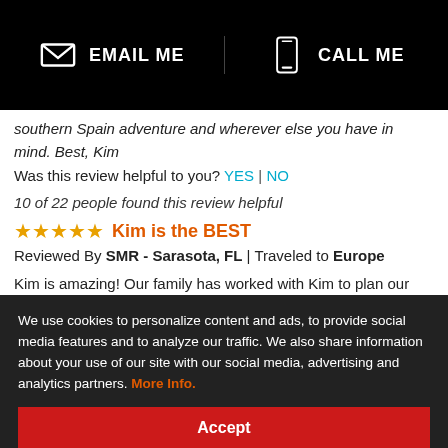[Figure (screenshot): Black banner with EMAIL ME and CALL ME buttons with icons]
southern Spain adventure and wherever else you have in mind. Best, Kim
Was this review helpful to you? YES | NO
10 of 22 people found this review helpful
Kim is the BEST
Reviewed By SMR - Sarasota, FL | Traveled to Europe
Kim is amazing! Our family has worked with Kim to plan our travel for decades, having relied on her talents and expertise to ensure that our trips will be fun, interesting and memorable. She consistently exceeds e of throughout all of our r for any future trips. We owing that whoever has owed and amazed as we
[Figure (screenshot): Cookie consent overlay with Accept button]
I would recommend this agent to my family and friends